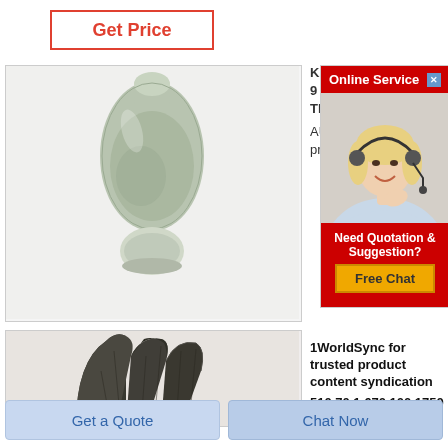Get Price
[Figure (photo): Product photo showing a pale green/grey refractory powder formed into a bottle/egg shape on a round base]
K26
9 x
The
AU 6
previ
[Figure (infographic): Online Service popup with red header, photo of smiling blonde female customer service agent with headset, and 'Need Quotation & Suggestion? Free Chat' button]
[Figure (photo): Bottom product image showing dark refractory bricks with Rongsheng logo]
1WorldSync for trusted product content syndication
510 70 1 670 100 1750 1 22 28
Get a Quote
Chat Now